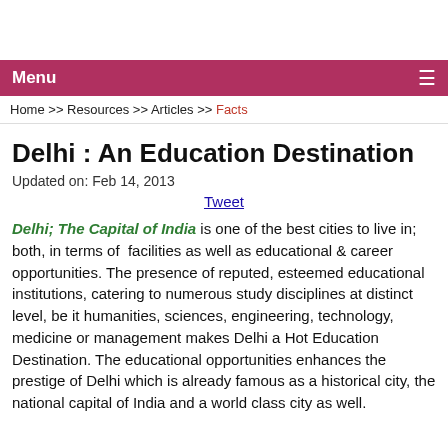Menu
Home >> Resources >> Articles >> Facts
Delhi : An Education Destination
Updated on: Feb 14, 2013
Tweet
Delhi; The Capital of India is one of the best cities to live in; both, in terms of facilities as well as educational & career opportunities. The presence of reputed, esteemed educational institutions, catering to numerous study disciplines at distinct level, be it humanities, sciences, engineering, technology, medicine or management makes Delhi a Hot Education Destination. The educational opportunities enhances the prestige of Delhi which is already famous as a historical city, the national capital of India and a world class city as well.